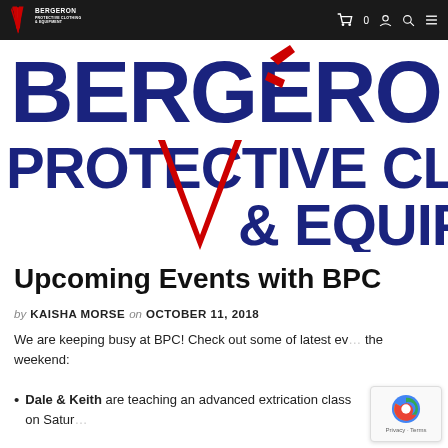Bergeron Protective Clothing & Equipment — Navigation bar
[Figure (logo): Bergeron Protective Clothing & Equipment large banner logo with bold navy blue text 'BERGERON' and 'PROTECTIVE CLOTHING' and '& EQUIPMENT' with a large red stylized checkmark/V logo, cropped/zoomed version of the logo filling the hero area]
Upcoming Events with BPC
by KAISHA MORSE on OCTOBER 11, 2018
We are keeping busy at BPC! Check out some of latest ev... the weekend:
Dale & Keith are teaching an advanced extrication class on Satur...